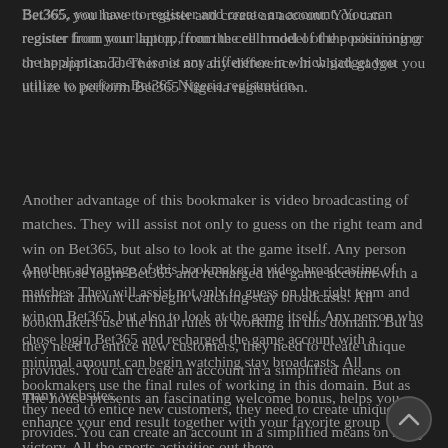Bet365, you have to register and create an account. You can register from your laptop, from the cell model of the positioning or the appliance. There is not any difference in which gadget you utilize to perform Bet365 Nigeria registration.
Another advantage of this bookmaker is video broadcasting of matches. They will assist not only to guess on the right team and win on Bet365, but also to look at the game itself. Any person who chose login Bet365 and recharged the game account with a minimal amount can begin watching stay broadcasts. All bookmakers use the final rules of working in this domain. But as they need to entice new customers, they need to create unique provides. You can create an account in a simplified means on many websites.
The house presents an fascinating welcome bonus, helps you enhance your end result together with your favorite group victory. All the sports activities out there